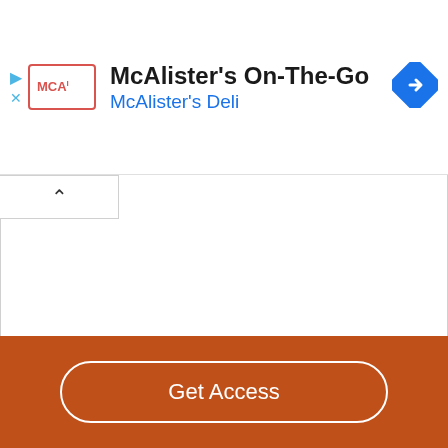[Figure (logo): McAlister's Deli app advertisement banner with MCA logo, app name 'McAlister's On-The-Go', subtitle 'McAlister's Deli', and a blue navigation diamond icon]
IENCE"...
Get Access